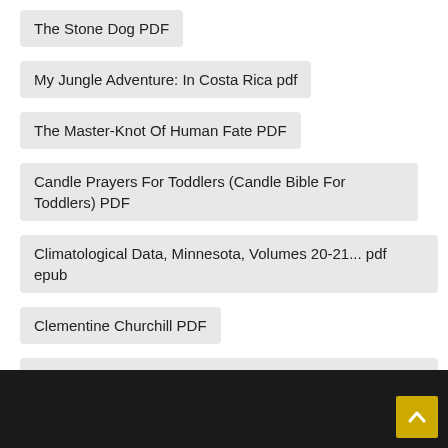The Stone Dog PDF
My Jungle Adventure: In Costa Rica pdf
The Master-Knot Of Human Fate PDF
Candle Prayers For Toddlers (Candle Bible For Toddlers) PDF
Climatological Data, Minnesota, Volumes 20-21... pdf epub
Clementine Churchill PDF
Rigby Pm Coleccion: Leveled Reader 6Pk Rojo (Red) Yo Ayudo En Mi Casa (I Help At Home) (Spanish Edit PDF